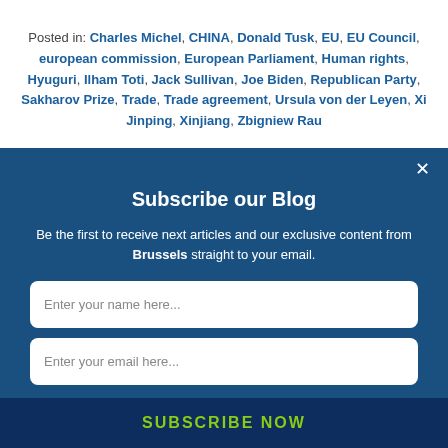Posted in: Charles Michel, CHINA, Donald Tusk, EU, EU Council, european commission, European Parliament, Human rights, Hyuguri, Ilham Toti, Jack Sullivan, Joe Biden, Republican Party, Sakharov Prize, Trade, Trade agreement, Ursula von der Leyen, Xi Jinping, Xinjiang, Zbigniew Rau
Subscribe our Blog
Be the first to receive next articles and our exclusive content from Brussels straight to your email.
Enter your name here...
Enter your email here...
You can unsubscribe at any time.
SUBSCRIBE NOW